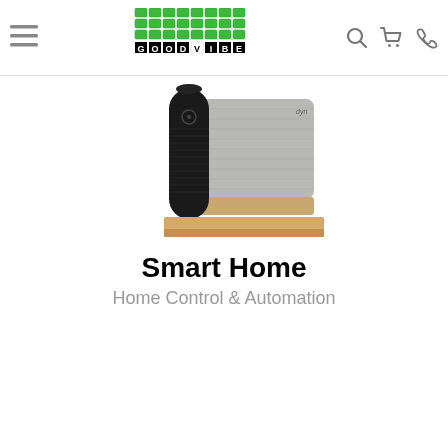[Figure (logo): GoodVibes logo with green stacked bar blocks above text GOODVIBES in black and white tiles]
[Figure (photo): Smart home devices: a black cylindrical smart speaker (Amazon Echo style) and a grey fabric-wrapped wireless speaker (Klipsch style) on a wooden surface]
Smart Home
Home Control & Automation